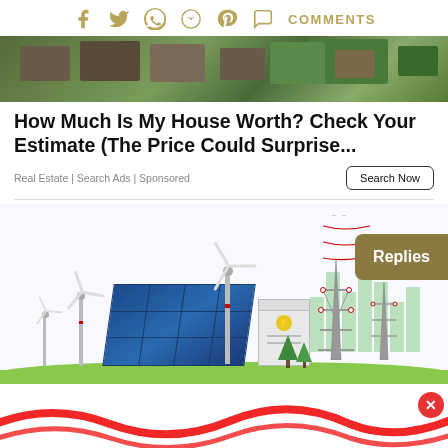[Figure (screenshot): Social sharing icons: Facebook, Twitter, WhatsApp, Reddit, Pinterest, Chat/Comments — in golden/tan color. COMMENTS label to the right.]
[Figure (photo): Aerial view of suburban houses with rooftops, trees, and green spaces.]
How Much Is My House Worth? Check Your Estimate (The Price Could Surprise...
Real Estate | Search Ads | Sponsored
[Figure (illustration): Illustration of green energy infrastructure: wind turbines, solar panels, electrical transmission towers, battery storage, and city skyline in background. A 'Replies' button overlaid on the right side.]
[Figure (screenshot): Bottom advertisement with red wavy lines. A red circle with X close button in the lower right.]